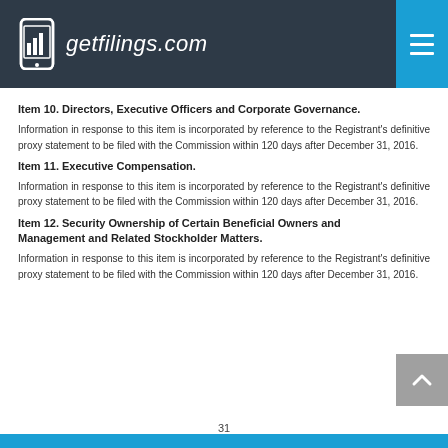getfilings.com
Item 10. Directors, Executive Officers and Corporate Governance.
Information in response to this item is incorporated by reference to the Registrant's definitive proxy statement to be filed with the Commission within 120 days after December 31, 2016.
Item 11. Executive Compensation.
Information in response to this item is incorporated by reference to the Registrant's definitive proxy statement to be filed with the Commission within 120 days after December 31, 2016.
Item 12. Security Ownership of Certain Beneficial Owners and Management and Related Stockholder Matters.
Information in response to this item is incorporated by reference to the Registrant's definitive proxy statement to be filed with the Commission within 120 days after December 31, 2016.
31